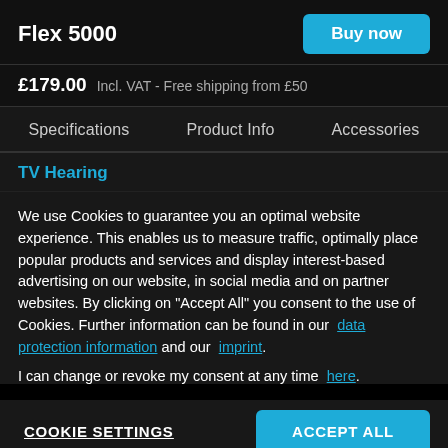Flex 5000
Buy now
£179.00  Incl. VAT - Free shipping from £50
Specifications
Product Info
Accessories
TV Hearing
We use Cookies to guarantee you an optimal website experience. This enables us to measure traffic, optimally place popular products and services and display interest-based advertising on our website, in social media and on partner websites. By clicking on "Accept All" you consent to the use of Cookies. Further information can be found in our  data protection information and our  imprint.
I can change or revoke my consent at any time  here.
COOKIE SETTINGS
ACCEPT ALL